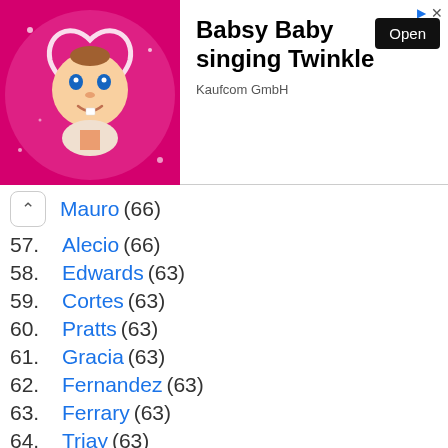[Figure (screenshot): Advertisement banner for Babsy Baby singing Twinkle app by Kaufcom GmbH. Shows a cartoon baby on a pink background with an Open button.]
Mauro (66)
57. Alecio (66)
58. Edwards (63)
59. Cortes (63)
60. Pratts (63)
61. Gracia (63)
62. Fernandez (63)
63. Ferrary (63)
64. Triay (63)
65. Borg (63)
66. Alman (63)
67. Sántos (63)
68. Avellano (60)